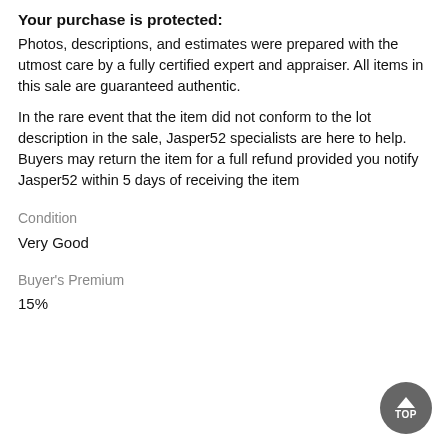Your purchase is protected:
Photos, descriptions, and estimates were prepared with the utmost care by a fully certified expert and appraiser. All items in this sale are guaranteed authentic.
In the rare event that the item did not conform to the lot description in the sale, Jasper52 specialists are here to help. Buyers may return the item for a full refund provided you notify Jasper52 within 5 days of receiving the item
Condition
Very Good
Buyer's Premium
15%